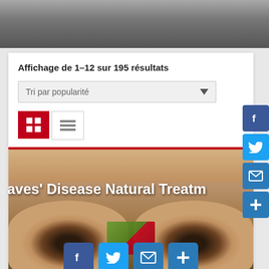[Figure (photo): Top dark gray photo strip at the top of the page]
Affichage de 1–12 sur 195 résultats
[Figure (screenshot): Sort dropdown showing 'Tri par popularité' with a downward arrow, and grid/list view toggle buttons (grid active in red, list inactive)]
[Figure (photo): Close-up photo of human eyes with text overlay reading 'Graves\u2019 Disease Natural Treatment' and a product image. Social media share buttons (Facebook, Twitter, Email, More) visible at bottom.]